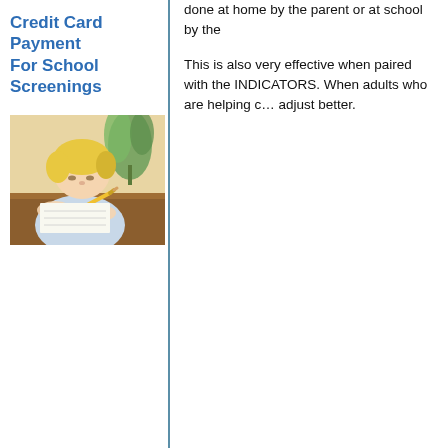done at home by the parent or at school by the
This is also very effective when paired with the INDICATORS. When adults who are helping c… adjust better.
Credit Card Payment For School Screenings
[Figure (photo): Young child (blonde) writing with a pencil at a wooden table, with a plant in background]